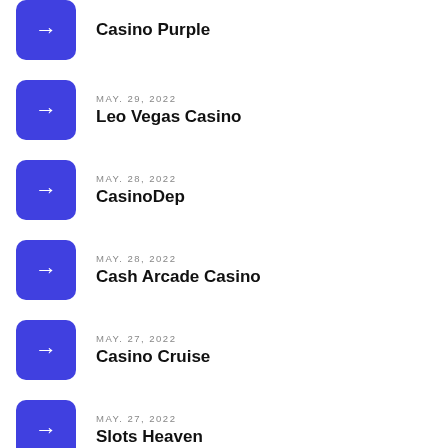Casino Purple
MAY. 29, 2022 — Leo Vegas Casino
MAY. 28, 2022 — CasinoDep
MAY. 28, 2022 — Cash Arcade Casino
MAY. 27, 2022 — Casino Cruise
MAY. 27, 2022 — Slots Heaven
(partial item)